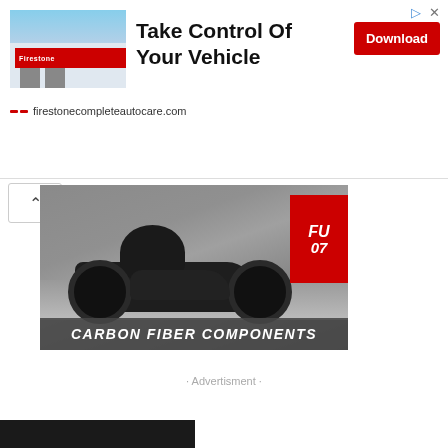[Figure (screenshot): Firestone Complete Auto Care advertisement banner with store photo, headline 'Take Control Of Your Vehicle', Download button, and firestonecompleteautocare.com URL]
[Figure (photo): Carbon Fiber Components advertisement showing a motorcycle racer on a sport bike at a racing event, with red banner and text 'CARBON FIBER COMPONENTS']
· Advertisment ·
[Figure (screenshot): Black bar at bottom of page, partially visible]